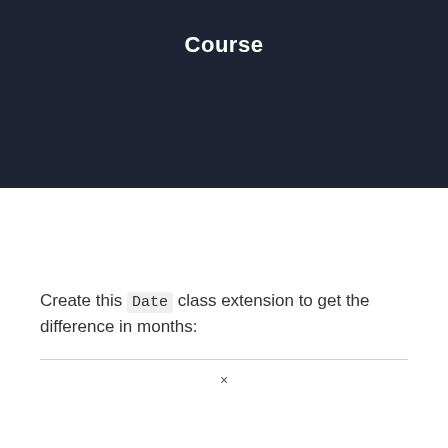Course
Create this Date class extension to get the difference in months: